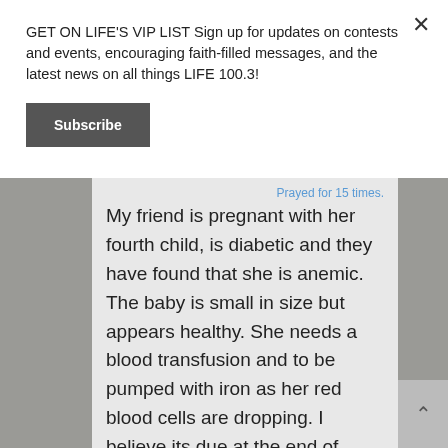GET ON LIFE'S VIP LIST Sign up for updates on contests and events, encouraging faith-filled messages, and the latest news on all things LIFE 100.3!
Subscribe
Prayed for 15 times.
My friend is pregnant with her fourth child, is diabetic and they have found that she is anemic. The baby is small in size but appears healthy. She needs a blood transfusion and to be pumped with iron as her red blood cells are dropping. I believe its due at the end of August. May God pass His healing hand over her entire body and be the blood transfusion that she needs.